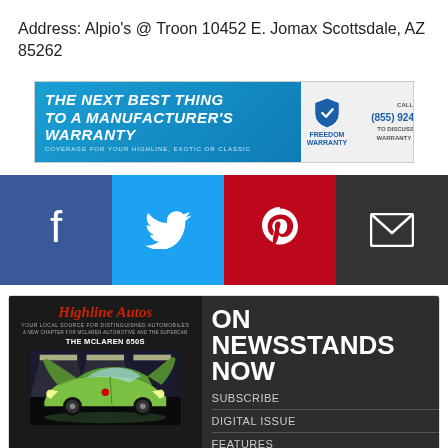Address: Alpio's @ Troon 10452 E. Jomax Scottsdale, AZ 85262
[Figure (infographic): Freedom Warranty advertisement banner: 'THE NEXT BEST THING TO A MANUFACTURER'S WARRANTY. COVERAGE FOR YOUR HIGHLINE, EXOTIC OR CLASSIC.' with shield logo and phone number (855) 924 1333]
[Figure (infographic): Social media sharing buttons: Facebook (dark blue), Twitter (light blue), Pinterest (red), Email (dark gray)]
[Figure (infographic): Highline Autos magazine advertisement showing the McLaren 650S on the cover on the left, and 'ON NEWSSTANDS NOW' with links: SUBSCRIBE, DIGITAL ISSUE, FEATURES, ADVERTISE on the right, on dark background.]